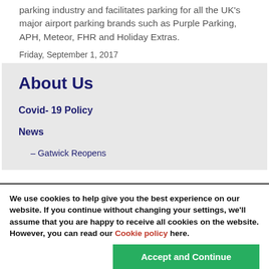parking industry and facilitates parking for all the UK's major airport parking brands such as Purple Parking, APH, Meteor, FHR and Holiday Extras.
Friday, September 1, 2017
About Us
Covid- 19 Policy
News
– Gatwick Reopens
We use cookies to help give you the best experience on our website. If you continue without changing your settings, we'll assume that you are happy to receive all cookies on the website. However, you can read our Cookie policy here.
Accept and Continue